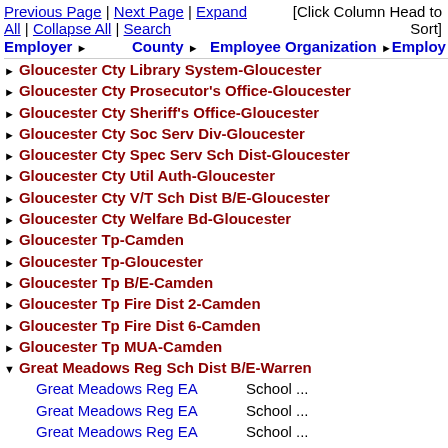Previous Page | Next Page | Expand All | Collapse All | Search   [Click Column Head to Sort]
| Employer | County | Employee Organization | Employ... |
| --- | --- | --- | --- |
| Gloucester Cty Library System-Gloucester |  |  |  |
| Gloucester Cty Prosecutor's Office-Gloucester |  |  |  |
| Gloucester Cty Sheriff's Office-Gloucester |  |  |  |
| Gloucester Cty Soc Serv Div-Gloucester |  |  |  |
| Gloucester Cty Spec Serv Sch Dist-Gloucester |  |  |  |
| Gloucester Cty Util Auth-Gloucester |  |  |  |
| Gloucester Cty V/T Sch Dist B/E-Gloucester |  |  |  |
| Gloucester Cty Welfare Bd-Gloucester |  |  |  |
| Gloucester Tp-Camden |  |  |  |
| Gloucester Tp-Gloucester |  |  |  |
| Gloucester Tp B/E-Camden |  |  |  |
| Gloucester Tp Fire Dist 2-Camden |  |  |  |
| Gloucester Tp Fire Dist 6-Camden |  |  |  |
| Gloucester Tp MUA-Camden |  |  |  |
| Great Meadows Reg Sch Dist B/E-Warren |  |  |  |
|  |  | Great Meadows Reg EA | School ... |
|  |  | Great Meadows Reg EA | School ... |
|  |  | Great Meadows Reg EA | School ... |